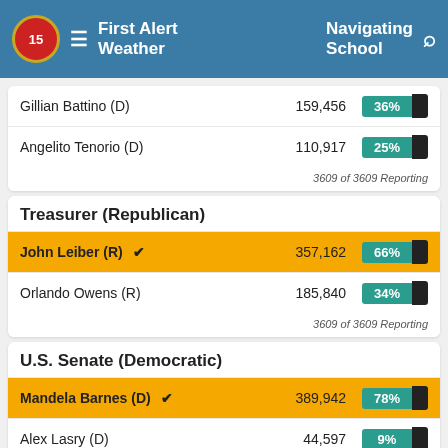First Alert Weather | Navigating School
| Candidate | Votes | Pct |
| --- | --- | --- |
| Gillian Battino (D) | 159,456 | 36% |
| Angelito Tenorio (D) | 110,917 | 25% |
3609 of 3609 Reporting
Treasurer (Republican)
| Candidate | Votes | Pct |
| --- | --- | --- |
| John Leiber (R) ✓ | 357,162 | 66% |
| Orlando Owens (R) | 185,840 | 34% |
3609 of 3609 Reporting
U.S. Senate (Democratic)
| Candidate | Votes | Pct |
| --- | --- | --- |
| Mandela Barnes (D) ✓ | 389,942 | 78% |
| Alex Lasry (D) | 44,597 | 9% |
| Sarah Godlewski (D) | 40,454 | 8% |
| Tom Nelson (D) | 10,936 | 2% |